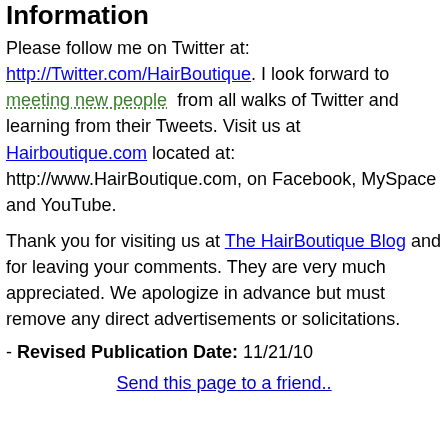Information
Please follow me on Twitter at: http://Twitter.com/HairBoutique. I look forward to meeting new people from all walks of Twitter and learning from their Tweets. Visit us at Hairboutique.com located at: http://www.HairBoutique.com, on Facebook, MySpace and YouTube.
Thank you for visiting us at The HairBoutique Blog and for leaving your comments. They are very much appreciated. We apologize in advance but must remove any direct advertisements or solicitations.
- Revised Publication Date: 11/21/10
Send this page to a friend..